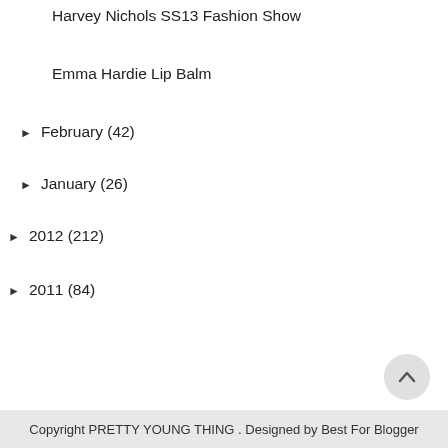Harvey Nichols SS13 Fashion Show
Emma Hardie Lip Balm
► February (42)
► January (26)
► 2012 (212)
► 2011 (84)
Copyright PRETTY YOUNG THING . Designed by Best For Blogger